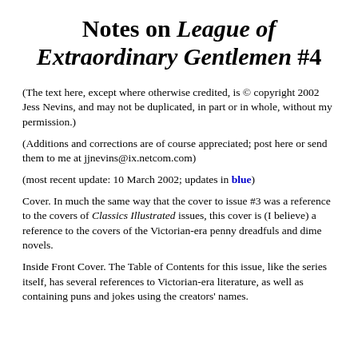Notes on League of Extraordinary Gentlemen #4
(The text here, except where otherwise credited, is © copyright 2002 Jess Nevins, and may not be duplicated, in part or in whole, without my permission.)
(Additions and corrections are of course appreciated; post here or send them to me at jjnevins@ix.netcom.com)
(most recent update: 10 March 2002; updates in blue)
Cover. In much the same way that the cover to issue #3 was a reference to the covers of Classics Illustrated issues, this cover is (I believe) a reference to the covers of the Victorian-era penny dreadfuls and dime novels.
Inside Front Cover. The Table of Contents for this issue, like the series itself, has several references to Victorian-era literature, as well as containing puns and jokes using the creators' names.